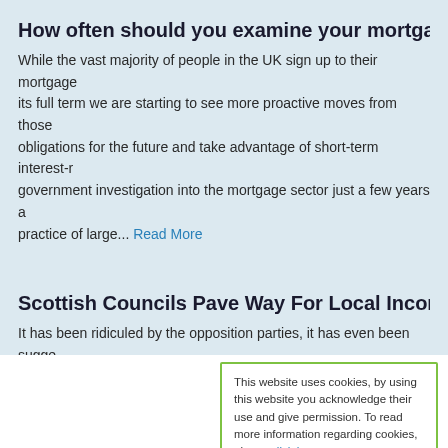How often should you examine your mortgage arrange
While the vast majority of people in the UK sign up to their mortgage its full term we are starting to see more proactive moves from those obligations for the future and take advantage of short-term interest-r government investigation into the mortgage sector just a few years a practice of large... Read More
Scottish Councils Pave Way For Local Income Tax
It has been ridiculed by the opposition parties, it has even been sugg whatever the real position the prospect of a local income tax moved replace the current council tax system after Scottish councils collect idea. This now puts the opposition parties in a very difficult situation the... Read More
This website uses cookies, by using this website you acknowledge their use and give permission. To read more information regarding cookies, please click here Accept and dismiss